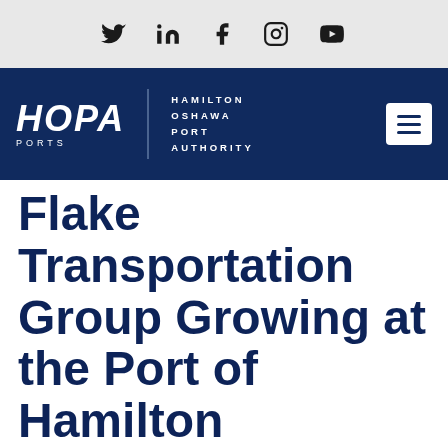[Figure (other): Social media icon bar with Twitter, LinkedIn, Facebook, Instagram, and YouTube icons on a light grey background]
[Figure (logo): HOPA Ports logo — Hamilton Oshawa Port Authority — white text on dark navy background with hamburger menu button]
Flake Transportation Group Growing at the Port of Hamilton
June 4, 2019   12:27 pm
June 4, 2019